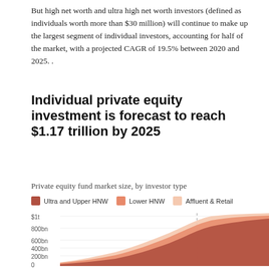But high net worth and ultra high net worth investors (defined as individuals worth more than $30 million) will continue to make up the largest segment of individual investors, accounting for half of the market, with a projected CAGR of 19.5% between 2020 and 2025. .
Individual private equity investment is forecast to reach $1.17 trillion by 2025
Private equity fund market size, by investor type
[Figure (area-chart): Private equity fund market size, by investor type]